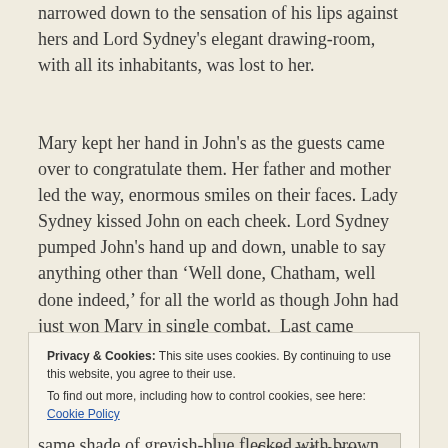narrowed down to the sensation of his lips against hers and Lord Sydney's elegant drawing-room, with all its inhabitants, was lost to her.
Mary kept her hand in John's as the guests came over to congratulate them. Her father and mother led the way, enormous smiles on their faces. Lady Sydney kissed John on each cheek. Lord Sydney pumped John's hand up and down, unable to say anything other than 'Well done, Chatham, well done indeed,' for all the world as though John had just won Mary in single combat.  Last came William and Harriot. Harriot slipped her hand through her new sister-in-law's arm and William clasped John's hand with genuine pleasure.
Privacy & Cookies: This site uses cookies. By continuing to use this website, you agree to their use. To find out more, including how to control cookies, see here: Cookie Policy
same shade of greyish-blue flecked with brown, fringed with